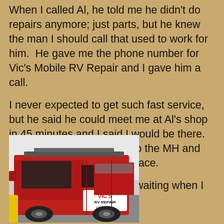When I called Al, he told me he didn't do repairs anymore; just parts, but he knew the man I should call that used to work for him.  He gave me the phone number for Vic's Mobile RV Repair and I gave him a call.
I never expected to get such fast service, but he said he could meet me at Al's shop in 45 minutes and I said I would be there.  No breakfast; just closed up the MH and high-tailed it down to Al's place.
Vic was already there and waiting when I arrived.
[Figure (photo): A red pickup truck with a roof rack and a door decal reading 'VIC'S RV REPAIR' with a phone number, parked next to a yellow post.]